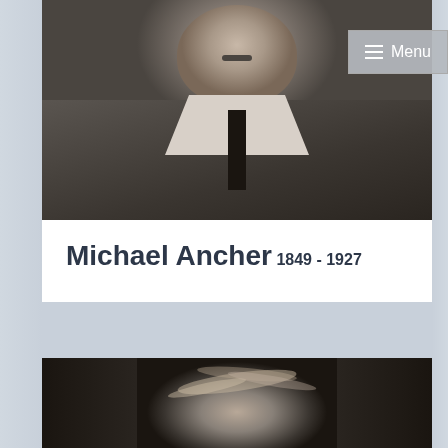[Figure (photo): Black and white portrait photograph of Michael Ancher, an older man with a mustache wearing a suit and tie]
Michael Ancher
1849 - 1927
[Figure (photo): Black and white photograph showing the top of a person's head with disheveled hair against a dark background]